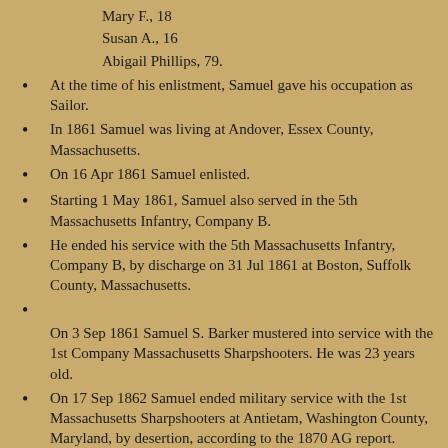Mary F., 18
Susan A., 16
Abigail Phillips, 79.
At the time of his enlistment, Samuel gave his occupation as Sailor.
In 1861 Samuel was living at Andover, Essex County, Massachusetts.
On 16 Apr 1861 Samuel enlisted.
Starting 1 May 1861, Samuel also served in the 5th Massachusetts Infantry, Company B.
He ended his service with the 5th Massachusetts Infantry, Company B, by discharge on 31 Jul 1861 at Boston, Suffolk County, Massachusetts.
On 3 Sep 1861 Samuel S. Barker mustered into service with the 1st Company Massachusetts Sharpshooters. He was 23 years old.
On 17 Sep 1862 Samuel ended military service with the 1st Massachusetts Sharpshooters at Antietam, Washington County, Maryland, by desertion, according to the 1870 AG report.
Starting 19 Aug 1864, Samuel also served in the 1st PHB Cavalry Regiment Maryland, Company D.
He ended his service with by mustering out on 25 Jun 1865.